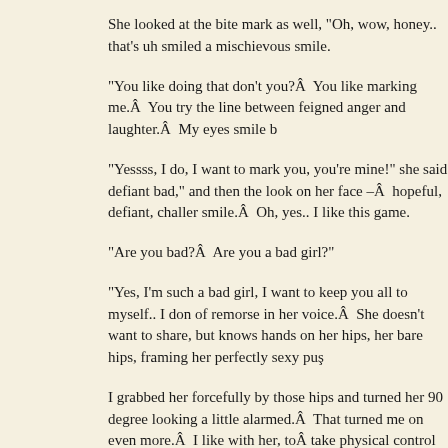She looked at the bite mark as well, "Oh, wow, honey.. that's uh smiled a mischievous smile.
“You like doing that don't you?Â  You like marking me.Â  You try the line between feigned anger and laughter.Â  My eyes smile b
“Yessss, I do, I want to mark you, you're mine!" she said defiant bad," and then the look on her face –Â  hopeful, defiant, challer smile.Â  Oh, yes.. I like this game.
“Are you bad?Â  Are you a bad girl?"
“Yes, I'm such a bad girl, I want to keep you all to myself.. I don of remorse in her voice.Â  She doesn't want to share, but knows hands on her hips, her bare hips, framing her perfectly sexy puş
I grabbed her forcefully by those hips and turned her 90 degree looking a little alarmed.Â  That turned me on even more.Â  I like with her, toÂ take physical control of her body for my own pleas
“You know what happens to bad girls? " I say this with a smile c something else.